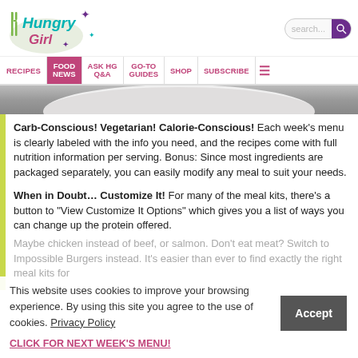Hungry Girl — RECIPES | FOOD NEWS | ASK HG Q&A | GO-TO GUIDES | SHOP | SUBSCRIBE
[Figure (photo): Partial view of a white plate on a marble/grey surface, cropped hero image strip]
Carb-Conscious! Vegetarian! Calorie-Conscious! Each week's menu is clearly labeled with the info you need, and the recipes come with full nutrition information per serving. Bonus: Since most ingredients are packaged separately, you can easily modify any meal to suit your needs.
When in Doubt… Customize It! For many of the meal kits, there's a button to "View Customize It Options" which gives you a list of ways you can change up the protein offered. Maybe chicken instead of beef, or salmon. Don't eat meat? Switch to Impossible Burgers instead. It's easier than ever to find exactly the right meal kits for you!
This website uses cookies to improve your browsing experience. By using this site you agree to the use of cookies. Privacy Policy
CLICK FOR NEXT WEEK'S MENU!